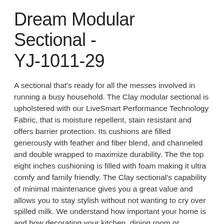Dream Modular Sectional - YJ-1011-29
A sectional that's ready for all the messes involved in running a busy household. The Clay modular sectional is upholstered with our LiveSmart Performance Technology Fabric, that is moisture repellent, stain resistant and offers barrier protection. Its cushions are filled generously with feather and fiber blend, and channeled and double wrapped to maximize durability. The the top eight inches cushioning is filled with foam making it ultra comfy and family friendly. The Clay sectional's capability of minimal maintenance gives you a great value and allows you to stay stylish without not wanting to cry over spilled milk. We understand how important your home is and how decorating your kitchen, dining room or bedrooms with classy, contemporary furnishings can help make it a place that reflects who you are. We believe in the power modern furniture has in creating not just a home but YOUR home. We believe in feeling good about our home's environment, and we think you do too.